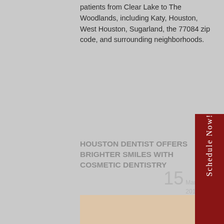patients from Clear Lake to The Woodlands, including Katy, Houston, West Houston, Sugarland, the 77084 zip code, and surrounding neighborhoods.
HOUSTON DENTIST OFFERS BRIGHTER SMILES WITH COSMETIC DENTISTRY
15 Mar. 2013
Posted By: GenneroAdmin
0 Comment
Categories: Cosmetic Dentistry, Porcelain Veneers, Restorative Dentistry
Tags: cosmetic dentistry dental bonding houston cosmetic dentist houston dentist porcelain veneers teeth whitening
[Figure (photo): Close-up photo of a person's face showing a bright smile, visible at bottom of page]